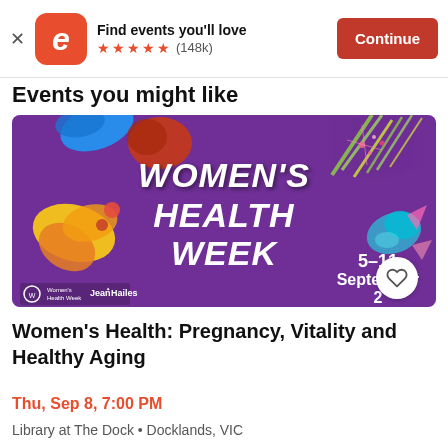Find events you'll love ★★★★★ (148k) Continue
Events you might like
[Figure (photo): Women's Health Week promotional banner on purple background with floral decorations. Text reads: WOMEN'S HEALTH WEEK 5–11 September 2[022]. Logos for Women's Health Week and Jean Hailes at bottom left.]
Women's Health: Pregnancy, Vitality and Healthy Aging
Thu, Sep 8, 7:00 PM
Library at The Dock • Docklands, VIC